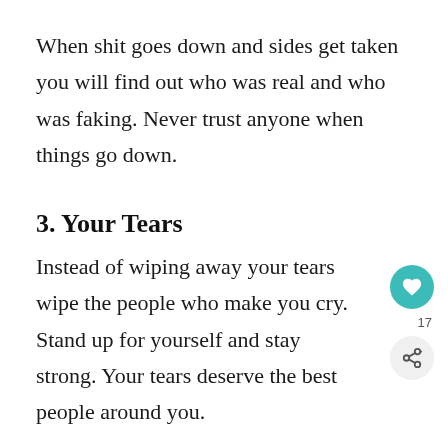When shit goes down and sides get taken you will find out who was real and who was faking. Never trust anyone when things go down.
3. Your Tears
Instead of wiping away your tears wipe the people who make you cry. Stand up for yourself and stay strong. Your tears deserve the best people around you.